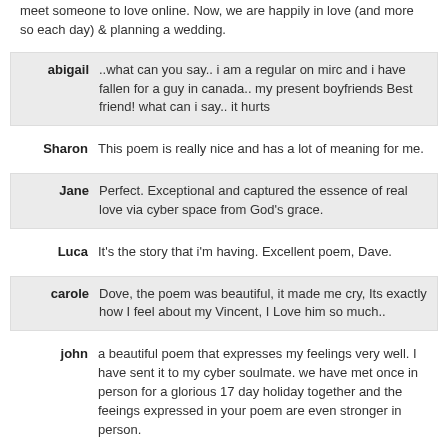meet someone to love online. Now, we are happily in love (and more so each day) & planning a wedding.
abigail: ..what can you say.. i am a regular on mirc and i have fallen for a guy in canada.. my present boyfriends Best friend! what can i say.. it hurts
Sharon: This poem is really nice and has a lot of meaning for me.
Jane: Perfect. Exceptional and captured the essence of real love via cyber space from God's grace.
Luca: It's the story that i'm having. Excellent poem, Dave.
carole: Dove, the poem was beautiful, it made me cry, Its exactly how I feel about my Vincent, I Love him so much..
john: a beautiful poem that expresses my feelings very well. I have sent it to my cyber soulmate. we have met once in person for a glorious 17 day holiday together and the feeings expressed in your poem are even stronger in person.
Nicole: I just wanted to say that this poem is exactly the way I feel for someone I met online.. I believe that you can find your true love over the internet.. this poem really touched my heart! It was really great.